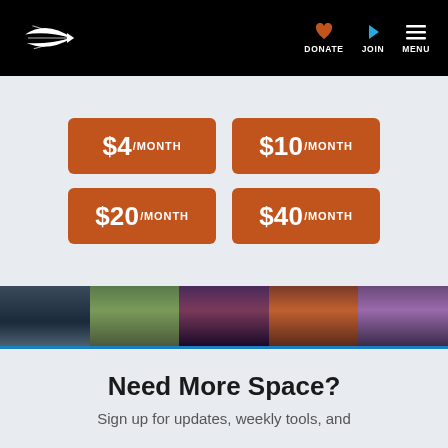The Planetary Society — DONATE | JOIN | MENU
$4/MONTH
$10/MONTH
$20/MONTH
$40/MONTH
[Figure (photo): Strip of five photos showing diverse people including scientists and stargazers]
Need More Space?
Sign up for updates, weekly tools, and